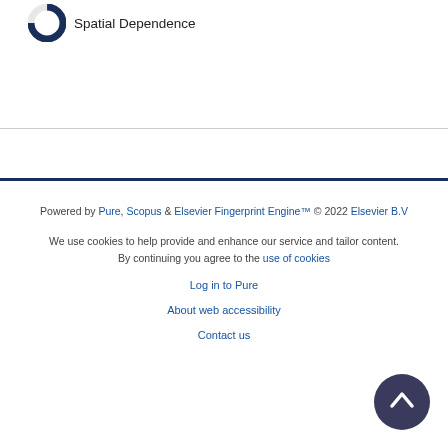[Figure (other): Donut/pie chart badge icon partially visible with label 'Spatial Dependence']
Powered by Pure, Scopus & Elsevier Fingerprint Engine™ © 2022 Elsevier B.V

We use cookies to help provide and enhance our service and tailor content. By continuing you agree to the use of cookies

Log in to Pure

About web accessibility

Contact us